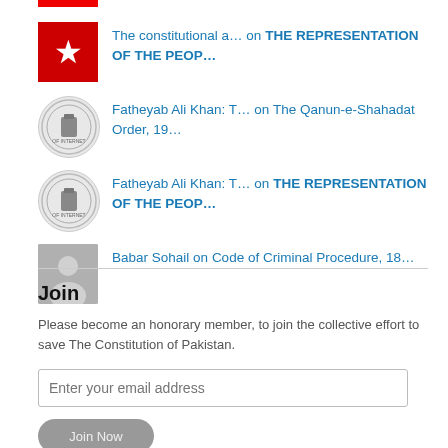The constitutional a… on THE REPRESENTATION OF THE PEOP…
Fatheyab Ali Khan: T… on The Qanun-e-Shahadat Order, 19…
Fatheyab Ali Khan: T… on THE REPRESENTATION OF THE PEOP…
Babar Sohail on Code of Criminal Procedure, 18…
Join
Please become an honorary member, to join the collective effort to save The Constitution of Pakistan.